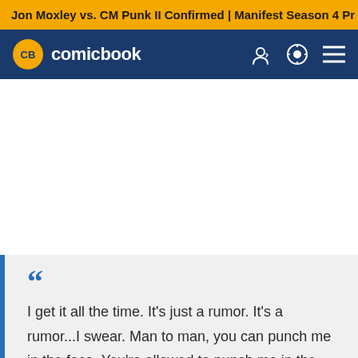Jon Moxley vs. CM Punk II Confirmed | Manifest Season 4 Pr
[Figure (logo): ComicBook.com logo with CB yellow circle and white text on dark blue navigation bar with user icon, theme toggle, and hamburger menu]
I get it all the time. It's just a rumor. It's a rumor...I swear. Man to man, you can punch me in the face. You're allowed to punch me in the face. No, it's a flattering rumor.